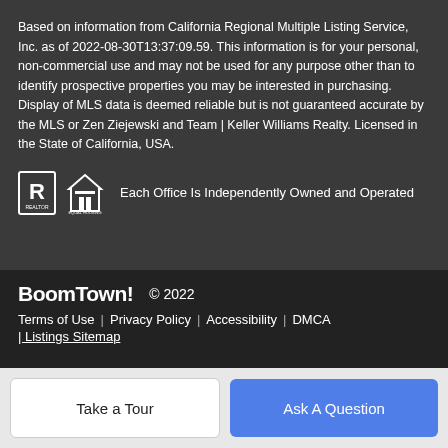Based on information from California Regional Multiple Listing Service, Inc. as of 2022-08-30T13:37:09.59. This information is for your personal, non-commercial use and may not be used for any purpose other than to identify prospective properties you may be interested in purchasing. Display of MLS data is deemed reliable but is not guaranteed accurate by the MLS or Zen Ziejewski and Team | Keller Williams Realty. Licensed in the State of California, USA.
[Figure (logo): Realtor logo and Equal Housing Opportunity logo with text 'Each Office Is Independently Owned and Operated']
[Figure (logo): BoomTown! logo with copyright 2022]
Terms of Use | Privacy Policy | Accessibility | DMCA | Listings Sitemap
Take a Tour
Ask A Question